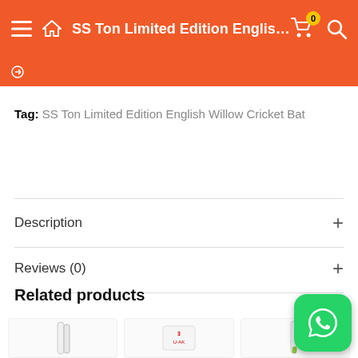SS Ton Limited Edition English ...
Tag: SS Ton Limited Edition English Willow Cricket Bat
Description
Reviews (0)
Related products
[Figure (photo): Product thumbnail images for related cricket bats]
[Figure (logo): WhatsApp contact button (green rounded square with WhatsApp logo)]